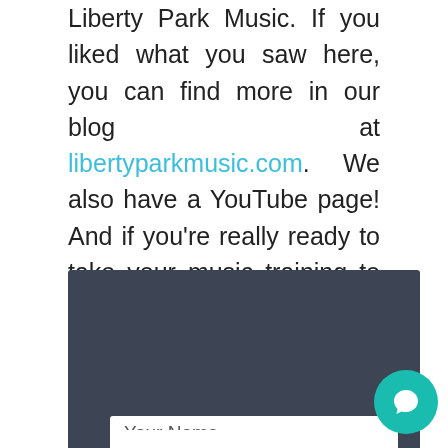Liberty Park Music. If you liked what you saw here, you can find more in our blog at libertyparkmusic.com. We also have a YouTube page! And if you're really ready to take your music training to the next level you can subscribe to our site and gain access to a full spectrum of piano lessons.
Sign up for our free newsletter
Useful articles for musicians
Your Name